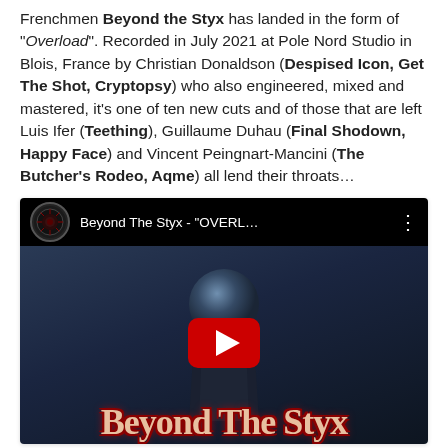Frenchmen Beyond the Styx has landed in the form of "Overload". Recorded in July 2021 at Pole Nord Studio in Blois, France by Christian Donaldson (Despised Icon, Get The Shot, Cryptopsy) who also engineered, mixed and mastered, it's one of ten new cuts and of those that are left Luis Ifer (Teething), Guillaume Duhau (Final Shodown, Happy Face) and Vincent Peingnart-Mancini (The Butcher's Rodeo, Aqme) all lend their throats…
[Figure (screenshot): YouTube video embed showing Beyond The Styx - 'OVERL...' with a dark thumbnail featuring a figure with a spherical head and the band name in gothic lettering at the bottom, with a red play button in the center.]